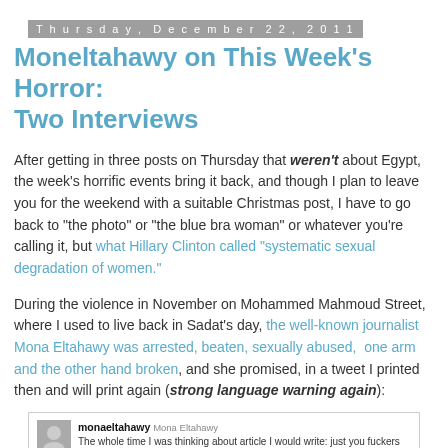Thursday, December 22, 2011
Moneltahawy on This Week's Horror: Two Interviews
After getting in three posts on Thursday that weren't about Egypt, the week's horrific events bring it back, and though I plan to leave you for the weekend with a suitable Christmas post, I have to go back to "the photo" or "the blue bra woman" or whatever you're calling it, but what Hillary Clinton called "systematic sexual degradation of women."
During the violence in November on Mohammed Mahmoud Street, where I used to live back in Sadat's day, the well-known journalist Mona Eltahawy was arrested, beaten, sexually abused,  one arm and the other hand broken, and she promised, in a tweet I printed then and will print again (strong language warning again):
[Figure (screenshot): Screenshot of a tweet by monaeltahawy (Mona Eltahawy) reading: 'The whole time I was thinking about article I would write: just you fuckers wait.' with a small profile photo and reply count shown.]